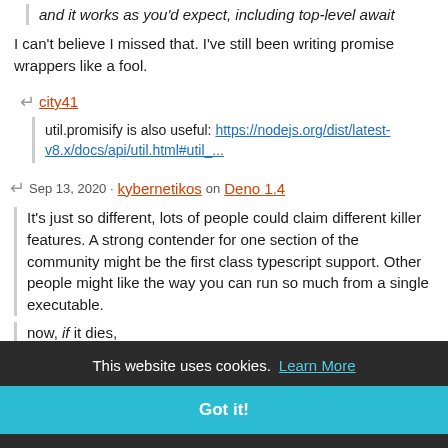You can import (require) from 'api/promises' in Node and it works as you'd expect, including top-level await
I can't believe I missed that. I've still been writing promise wrappers like a fool.
city41
util.promisify is also useful: https://nodejs.org/dist/latest-v8.x/docs/api/util.html#util_...
Sep 13, 2020 · kybernetikos on Deno 1.4
It's just so different, lots of people could claim different killer features. A strong contender for one section of the community might be the first class typescript support. Other people might like the way you can run so much from a single executable.
now, if it dies, very slowly, uch longer than slowly adopt
an say that a bet on deno is definitely right, but it has a lot of interesting ideas and lots of people will be picking it up where they
This website uses cookies. Learn More Got it!